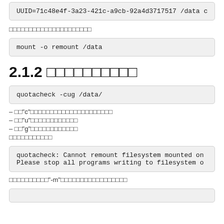UUID=71c48e4f-3a23-421c-a9cb-92a4d3717517 /data c
□□□□□□□□□□□□□□□□□□□□□
mount -o remount /data
2.1.2 □□□□□□□□□□
quotacheck -cug /data/
– □□"c"□□□□□□□□□□□□□□□□□□□□□
– □□"u"□□□□□□□□□□□□
– □□"g"□□□□□□□□□□□□
□□□□□□□□□□□
quotacheck: Cannot remount filesystem mounted on
Please stop all programs writing to filesystem o
□□□□□□□□□□"-m"□□□□□□□□□□□□□□□□□